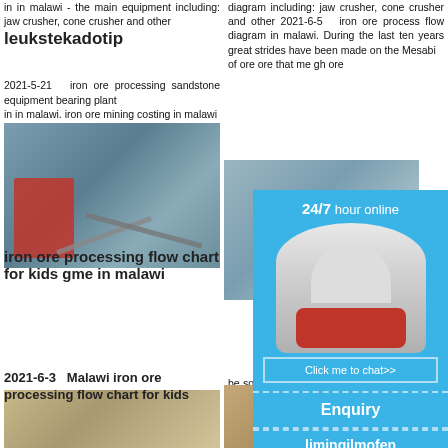in in malawi - the main equipment including: jaw crusher, cone crusher and other
leukstekadotip
2021-5-21 iron ore processing sandstone equipment bearing plant in in malawi. iron ore mining costing in malawi
[Figure (photo): Mining/crushing equipment at a quarry site, left column image 1]
iron ore processing flow chart for kids gme in malawi
beneficiation flow and professional. beneficiation equipment The refined concentrate powder is mainly used in metallurgy and industry
processing flow chart for kids gme in malawi; iron ore
2021-6-3 Malawi iron ore processing flow chart for kids
[Figure (photo): Crushing/screening equipment with aggregate pile, left column image 2]
diagram including: jaw crusher, cone crusher and other 2021-6-5 iron ore process flow diagram in malawi. During the last ten years great strides have been made on the Mesabi
of ore ore that me gh ore
[Figure (photo): Excavator/mining equipment at quarry, right column image 1]
be sold iron ore. principal i flow she and moist malawi processes 2021-5-28 process fl malawi. Th
flow sheet malawi
[Figure (photo): Aggregate/rock pile at mining site, right column image 2]
24/7 hour online
[Figure (photo): Cone crusher machine illustration in chat widget]
Click me to chat>>
Enquiry
limingjlmofen